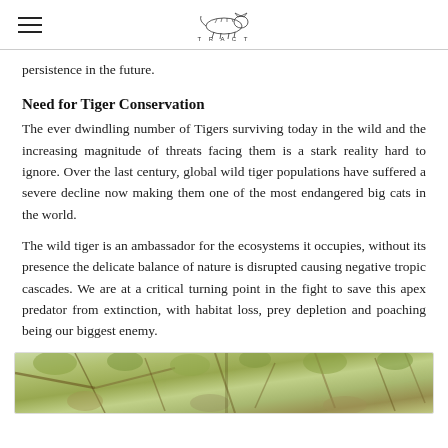TRACT (logo and hamburger menu)
persistence in the future.
Need for Tiger Conservation
The ever dwindling number of Tigers surviving today in the wild and the increasing magnitude of threats facing them is a stark reality hard to ignore. Over the last century, global wild tiger populations have suffered a severe decline now making them one of the most endangered big cats in the world.
The wild tiger is an ambassador for the ecosystems it occupies, without its presence the delicate balance of nature is disrupted causing negative tropic cascades. We are at a critical turning point in the fight to save this apex predator from extinction, with habitat loss, prey depletion and poaching being our biggest enemy.
[Figure (photo): Jungle/forest vegetation photo strip showing dense foliage and trees in greens and browns]